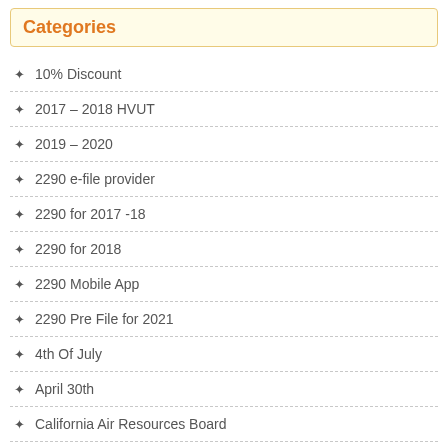Categories
10% Discount
2017 – 2018 HVUT
2019 – 2020
2290 e-file provider
2290 for 2017 -18
2290 for 2018
2290 Mobile App
2290 Pre File for 2021
4th Of July
April 30th
California Air Resources Board